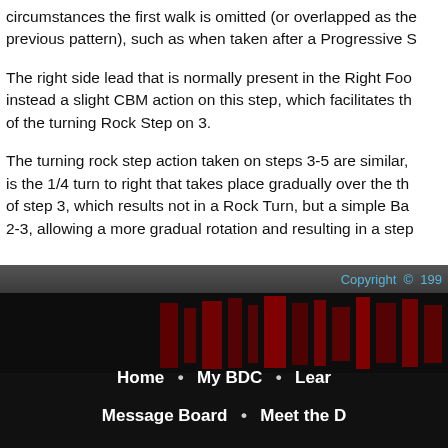circumstances the first walk is omitted (or overlapped as the previous pattern), such as when taken after a Progressive S
The right side lead that is normally present in the Right Foo instead a slight CBM action on this step, which facilitates th of the turning Rock Step on 3.
The turning rock step action taken on steps 3-5 are similar, is the 1/4 turn to right that takes place gradually over the th of step 3, which results not in a Rock Turn, but a simple Ba 2-3, allowing a more gradual rotation and resulting in a step
Copyright © 199
Home • My BDC • Lear Message Board • Meet the D